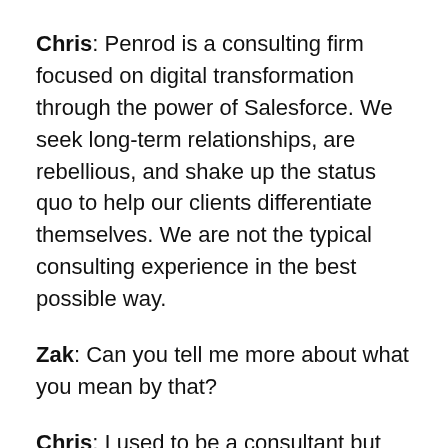Chris: Penrod is a consulting firm focused on digital transformation through the power of Salesforce. We seek long-term relationships, are rebellious, and shake up the status quo to help our clients differentiate themselves. We are not the typical consulting experience in the best possible way.
Zak: Can you tell me more about what you mean by that?
Chris: I used to be a consultant but didn't enjoy the experience because I didn't feel like an engaged stakeholder. I wanted to shake up the status quo. At Penrod, my goal remains to treat each client as if we are their employees. This helps us hold their success to the highest